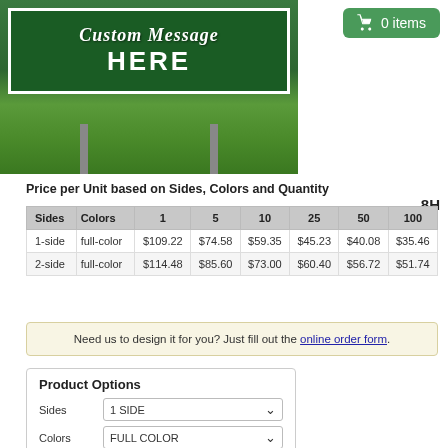[Figure (photo): Green road-style sign on lawn reading 'Custom Message HERE' displayed on two metal poles in grass]
0 items
Price per Unit based on Sides, Colors and Quantity
| Sides | Colors | 1 | 5 | 10 | 25 | 50 | 100 |
| --- | --- | --- | --- | --- | --- | --- | --- |
| 1-side | full-color | $109.22 | $74.58 | $59.35 | $45.23 | $40.08 | $35.46 |
| 2-side | full-color | $114.48 | $85.60 | $73.00 | $60.40 | $56.72 | $51.74 |
Need us to design it for you? Just fill out the online order form.
Product Options
Sides: 1 SIDE
Colors: FULL COLOR
Quantity: 1